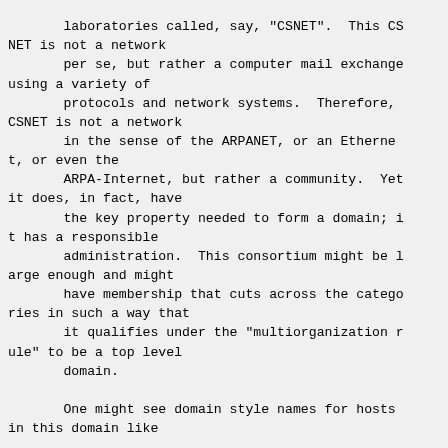laboratories called, say, "CSNET".  This CS NET is not a network
       per se, but rather a computer mail exchange using a variety of
       protocols and network systems.  Therefore, CSNET is not a network
       in the sense of the ARPANET, or an Ethernet, or even the
       ARPA-Internet, but rather a community.  Yet it does, in fact, have
       the key property needed to form a domain; it has a responsible
       administration.  This consortium might be large enough and might
       have membership that cuts across the categories in such a way that
       it qualifies under the "multiorganization rule" to be a top level
       domain.

       One might see domain style names for hosts in this domain like